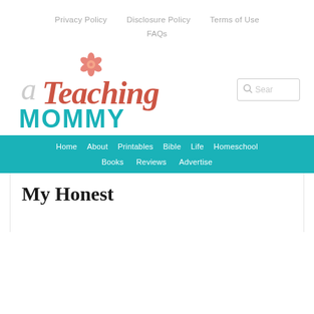Privacy Policy   Disclosure Policy   Terms of Use   FAQs
[Figure (logo): a Teaching MOMMY logo with flower icon and teal/coral colors]
Home  About  Printables  Bible  Life  Homeschool  Books  Reviews  Advertise
My Honest